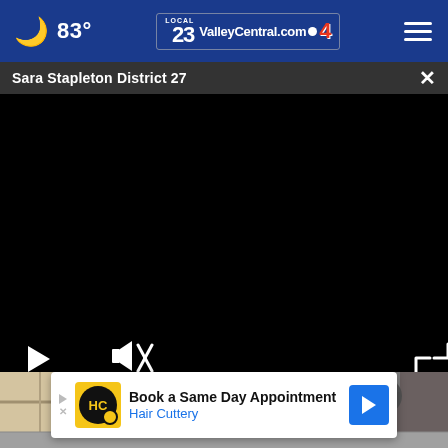83° ValleyCentral.com 23 4
Sara Stapleton District 27
[Figure (screenshot): Black video player with play button, mute icon, and expand icon in the controls bar at the bottom]
[Figure (photo): Construction workers on scaffolding, lower portion visible below video player]
Book a Same Day Appointment Hair Cuttery